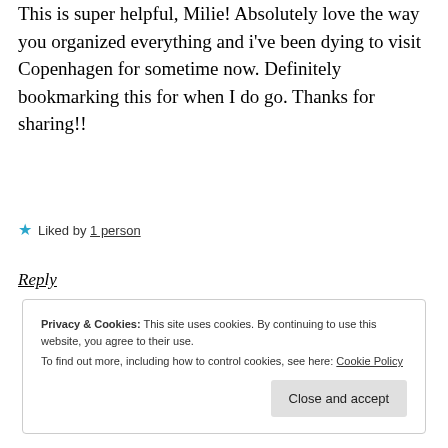This is super helpful, Milie! Absolutely love the way you organized everything and i've been dying to visit Copenhagen for sometime now. Definitely bookmarking this for when I do go. Thanks for sharing!!
★ Liked by 1 person
Reply
Privacy & Cookies: This site uses cookies. By continuing to use this website, you agree to their use. To find out more, including how to control cookies, see here: Cookie Policy
Close and accept